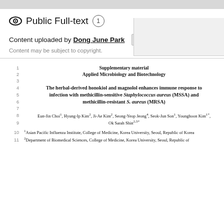Public Full-text 1
Content uploaded by Dong June Park  Author content
Content may be subject to copyright.
1  Supplementary material
2  Applied Microbiology and Biotechnology
The herbal-derived honokiol and magnolol enhances immune response to infection with methicillin-sensitive Staphylococcus aureus (MSSA) and methicillin-resistant S. aureus (MRSA)
8  Eun-Jin Choi1, Hyung-Ip Kim2, Ji-Ae Kim2, Seong-Yeop Jeong4, Seok-Jun Son1, Younghoon Kim1*,
9  Ok Sarah Shin2,5*
10  1Asian Pacific Influenza Institute, College of Medicine, Korea University, Seoul, Republic of Korea
11  2Department of Biomedical Sciences, College of Medicine, Korea University, Seoul, Republic of